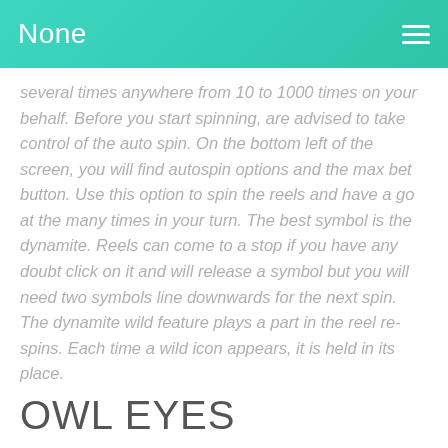None
several times anywhere from 10 to 1000 times on your behalf. Before you start spinning, are advised to take control of the auto spin. On the bottom left of the screen, you will find autospin options and the max bet button. Use this option to spin the reels and have a go at the many times in your turn. The best symbol is the dynamite. Reels can come to a stop if you have any doubt click on it and will release a symbol but you will need two symbols line downwards for the next spin. The dynamite wild feature plays a part in the reel re-spins. Each time a wild icon appears, it is held in its place.
OWL EYES